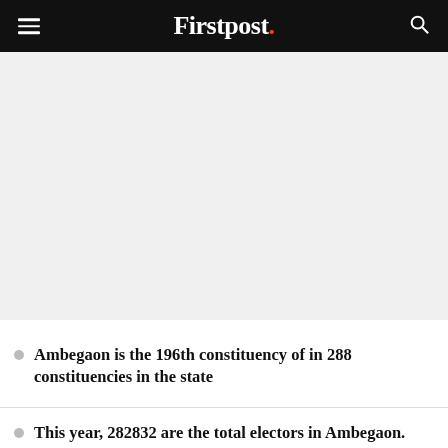Firstpost.
[Figure (photo): Image placeholder area (article image, content not visible)]
Ambegaon is the 196th constituency of in 288 constituencies in the state
This year, 282832 are the total electors in Ambegaon. Out of the total, 137208 are female and 145623 are male electors